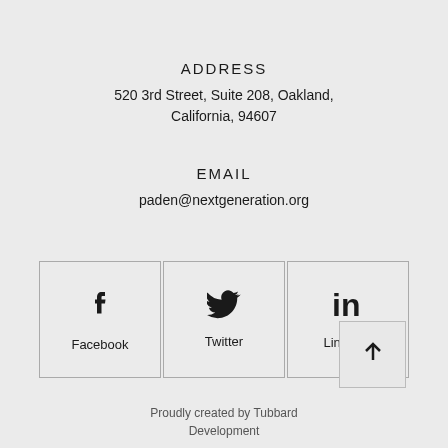ADDRESS
520 3rd Street, Suite 208, Oakland, California, 94607
EMAIL
paden@nextgeneration.org
[Figure (infographic): Three social media boxes: Facebook (f icon), Twitter (bird icon), LinkedIn (in icon), with a back-to-top arrow button]
Proudly created by Tubbard Development